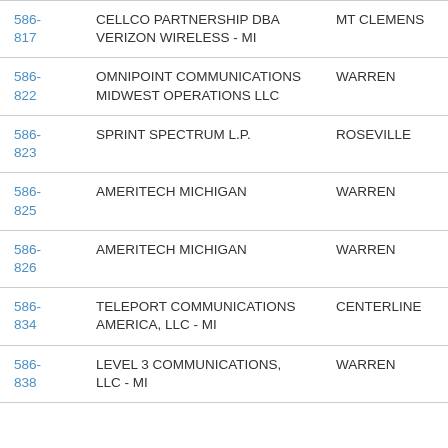| 586-817 | CELLCO PARTNERSHIP DBA VERIZON WIRELESS - MI | MT CLEMENS |
| 586-822 | OMNIPOINT COMMUNICATIONS MIDWEST OPERATIONS LLC | WARREN |
| 586-823 | SPRINT SPECTRUM L.P. | ROSEVILLE |
| 586-825 | AMERITECH MICHIGAN | WARREN |
| 586-826 | AMERITECH MICHIGAN | WARREN |
| 586-834 | TELEPORT COMMUNICATIONS AMERICA, LLC - MI | CENTERLINE |
| 586-838 | LEVEL 3 COMMUNICATIONS, LLC - MI | WARREN |